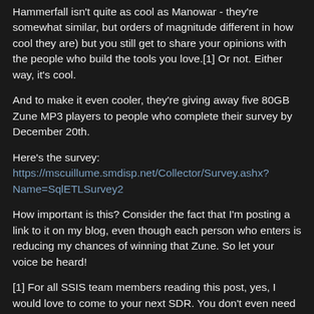Hammerfall isn't quite as cool as Manowar - they're somewhat similar, but orders of magnitude different in how cool they are) but you still get to share your opinions with the people who build the tools you love.[1] Or not. Either way, it's cool.
And to make it even cooler, they're giving away five 80GB Zune MP3 players to people who complete their survey by December 20th.
Here's the survey:
https://mscuillume.smdisp.net/Collector/Survey.ashx?Name=SqlETLSurvey2
How important is this? Consider the fact that I'm posting a link to it on my blog, even though each person who enters is reducing my chances of winning that Zune. So let your voice be heard!
[1] For all SSIS team members reading this post, yes, I would love to come to your next SDR. You don't even need to give me a Zune. Although I'd take one. ;-)